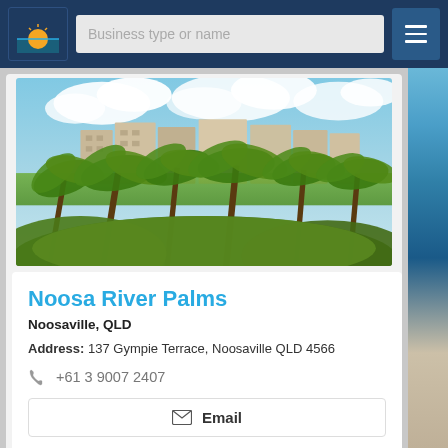[Figure (screenshot): Navigation bar with sunrise logo, search field reading 'Business type or name', and hamburger menu icon on dark blue background]
[Figure (photo): Aerial/elevated view of Noosaville QLD showing lush green palm trees in foreground and multi-storey apartment buildings under a partly cloudy blue sky]
Noosa River Palms
Noosaville, QLD
Address: 137 Gympie Terrace, Noosaville QLD 4566
+61 3 9007 2407
Email